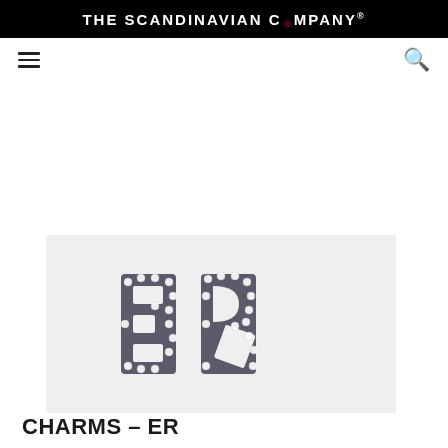THE SCANDINAVIAN COMPANY®
[Figure (logo): Navigation bar with hamburger menu icon on left and search icon on right]
[Figure (photo): Two crystal/rhinestone letter charms 'E' and 'R' in silver/gunmetal finish, studded with clear crystals, on a light grey background]
CHARMS – ER